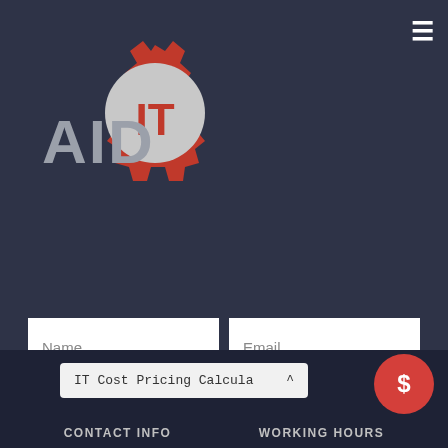[Figure (logo): AID IT logo with red gear icon and stylized text 'AID IT' in gray and red]
≡
Name
Email
Subject
SUBMIT
IT Cost Pricing Calculator
$
CONTACT INFO
WORKING HOURS